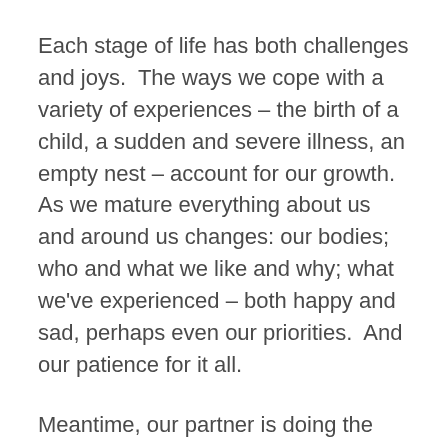Each stage of life has both challenges and joys.  The ways we cope with a variety of experiences – the birth of a child, a sudden and severe illness, an empty nest – account for our growth.  As we mature everything about us and around us changes: our bodies; who and what we like and why; what we've experienced – both happy and sad, perhaps even our priorities.  And our patience for it all.
Meantime, our partner is doing the same thing.